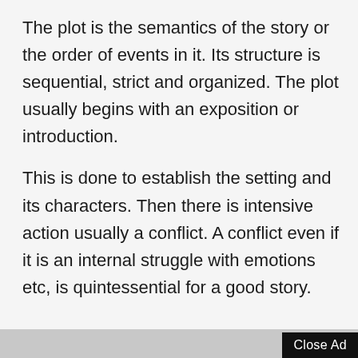The plot is the semantics of the story or the order of events in it. Its structure is sequential, strict and organized. The plot usually begins with an exposition or introduction.
This is done to establish the setting and its characters. Then there is intensive action usually a conflict. A conflict even if it is an internal struggle with emotions etc, is quintessential for a good story.
Close Ad